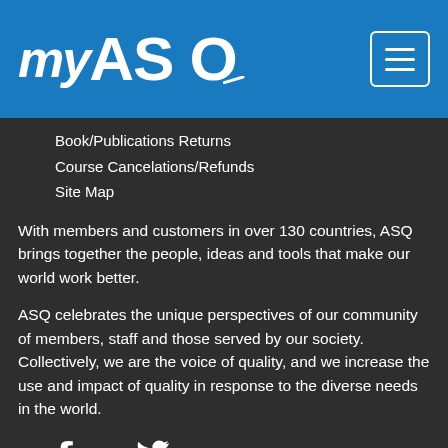myASQ
Book/Publications Returns
Course Cancelations/Refunds
Site Map
With members and customers in over 130 countries, ASQ brings together the people, ideas and tools that make our world work better.
ASQ celebrates the unique perspectives of our community of members, staff and those served by our society. Collectively, we are the voice of quality, and we increase the use and impact of quality in response to the diverse needs in the world.
[Figure (logo): Social media icons row: Facebook (f), Twitter (bird), LinkedIn (in), and myASQ logo]